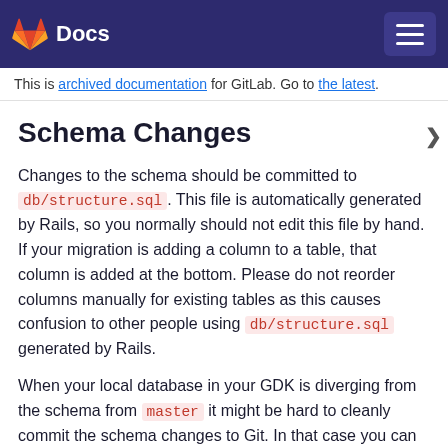Docs
This is archived documentation for GitLab. Go to the latest.
Schema Changes
Changes to the schema should be committed to db/structure.sql. This file is automatically generated by Rails, so you normally should not edit this file by hand. If your migration is adding a column to a table, that column is added at the bottom. Please do not reorder columns manually for existing tables as this causes confusion to other people using db/structure.sql generated by Rails.
When your local database in your GDK is diverging from the schema from master it might be hard to cleanly commit the schema changes to Git. In that case you can use the scripts/regenerate-schema script to